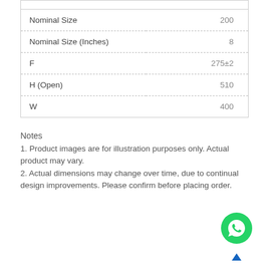| Property | Value |
| --- | --- |
| Nominal Size | 200 |
| Nominal Size (Inches) | 8 |
| F | 275±2 |
| H (Open) | 510 |
| W | 400 |
Notes
1. Product images are for illustration purposes only. Actual product may vary.
2. Actual dimensions may change over time, due to continual design improvements. Please confirm before placing order.